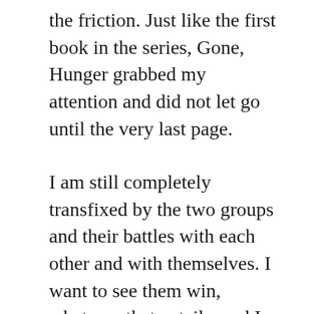the friction. Just like the first book in the series, Gone, Hunger grabbed my attention and did not let go until the very last page.
I am still completely transfixed by the two groups and their battles with each other and with themselves. I want to see them win, whatever that entails, and I want to be there when it happens. Lead on Mr Grant, I'm right behind you waiting impatiently for the end.
I will finish by saying that I am amazed that these stories are classed as Young Adult Literature. Like the Tales of the